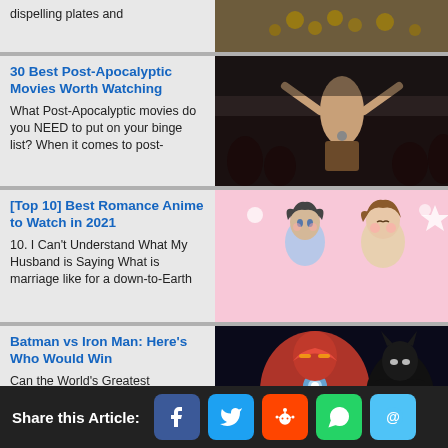dispelling plates and
[Figure (photo): Coins/food image top right]
30 Best Post-Apocalyptic Movies Worth Watching
What Post-Apocalyptic movies do you NEED to put on your binge list? When it comes to post-
[Figure (photo): Post-apocalyptic movie scene with woman]
[Top 10] Best Romance Anime to Watch in 2021
10. I Can't Understand What My Husband is Saying What is marriage like for a down-to-Earth
[Figure (photo): Romance anime couple illustration]
Batman vs Iron Man: Here's Who Would Win
Can the World's Greatest Detective defeat the World's Greatest Inventor? Two technological geniuses
[Figure (photo): Batman vs Iron Man digital art]
The 25 Best Alien Movies We've Ever
[Figure (photo): Alien movie scene bottom right]
Share this Article: